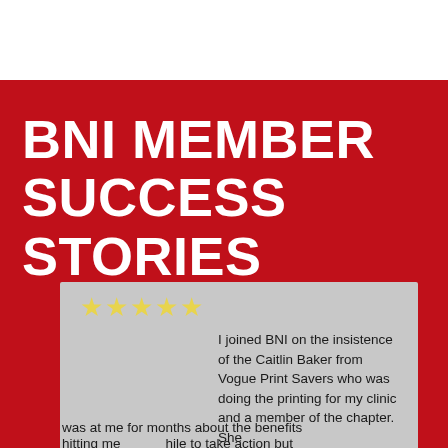BNI MEMBER SUCCESS STORIES
[Figure (other): Five yellow star rating icons]
I joined BNI on the insistence of the Caitlin Baker from Vogue Print Savers who was doing the printing for my clinic and a member of the chapter. She was at me for months about the benefits hitting me while to take action but